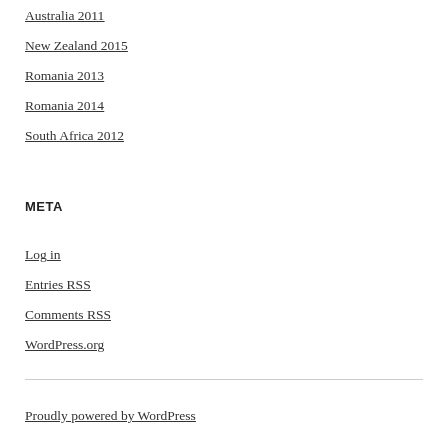Australia 2011
New Zealand 2015
Romania 2013
Romania 2014
South Africa 2012
META
Log in
Entries RSS
Comments RSS
WordPress.org
Proudly powered by WordPress